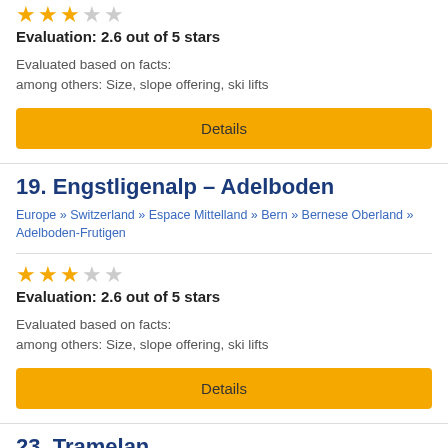[Figure (other): Star rating: 2.6 out of 5 stars (approx 2.5 filled stars shown in gold, rest grey)]
Evaluation: 2.6 out of 5 stars
Evaluated based on facts:
among others: Size, slope offering, ski lifts
Details
19. Engstligenalp – Adelboden
Europe » Switzerland » Espace Mittelland » Bern » Bernese Oberland » Adelboden-Frutigen
[Figure (other): Star rating: 2.6 out of 5 stars shown in gold/grey stars]
Evaluation: 2.6 out of 5 stars
Evaluated based on facts:
among others: Size, slope offering, ski lifts
Details
23. Tramelan
Europe » Switzerland » Espace Mittelland » Bern » Bernese Jura (Jura